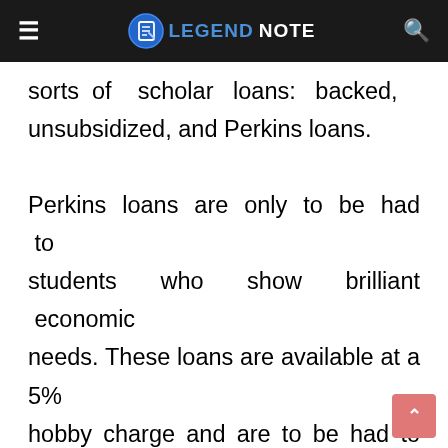LEGEND NOTE
sorts of scholar loans: backed, unsubsidized, and Perkins loans.

Perkins loans are only to be had to students who show brilliant economic needs. These loans are available at a 5% hobby charge and are to be had to each graduate and undergraduate college student. Perkins loans are extended thru the college you attend and could be repaid